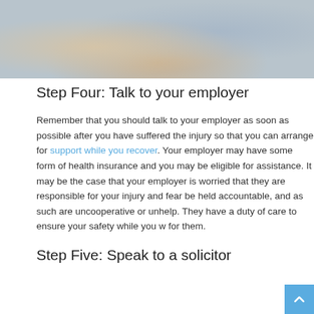[Figure (photo): Two people at a desk in a professional setting, one handing something to the other, with documents and a laptop visible.]
Step Four: Talk to your employer
Remember that you should talk to your employer as soon as possible after you have suffered the injury so that you can arrange for support while you recover. Your employer may have some form of health insurance and you may be eligible for assistance. It may be the case that your employer is worried that they are responsible for your injury and fear being held accountable, and as such are uncooperative or unhelpful. They have a duty of care to ensure your safety while you work for them.
Step Five: Speak to a solicitor